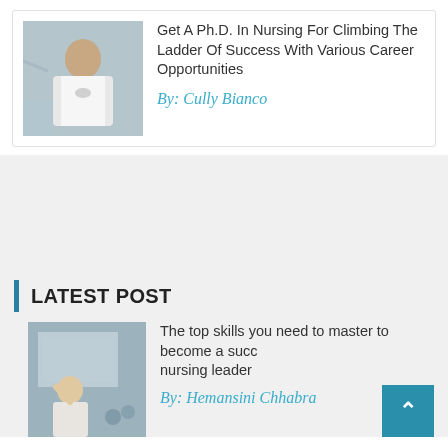[Figure (photo): Photo of a nurse in a white coat working at a patient bedside in a medical setting]
Get A Ph.D. In Nursing For Climbing The Ladder Of Success With Various Career Opportunities
By: Cully Bianco
LATEST POST
[Figure (photo): Photo of a person with glasses presenting or teaching in a classroom setting, raising hand]
The top skills you need to master to become a successful nursing leader
By: Hemansini Chhabra